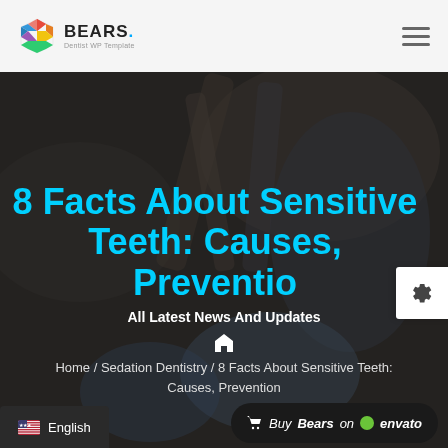BEARS. Dentist WP Template
8 Facts About Sensitive Teeth: Causes, Prevention
All Latest News And Updates
Home / Sedation Dentistry / 8 Facts About Sensitive Teeth: Causes, Prevention
[Figure (screenshot): Dental clinic background image showing dental tools and gloved hands, darkened overlay]
English | Buy Bears on envato